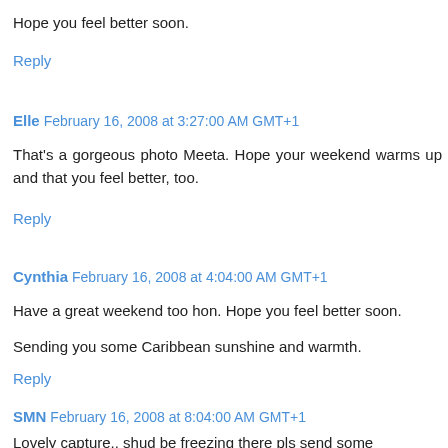Hope you feel better soon.
Reply
Elle  February 16, 2008 at 3:27:00 AM GMT+1
That's a gorgeous photo Meeta. Hope your weekend warms up and that you feel better, too.
Reply
Cynthia  February 16, 2008 at 4:04:00 AM GMT+1
Have a great weekend too hon. Hope you feel better soon.
Sending you some Caribbean sunshine and warmth.
Reply
SMN  February 16, 2008 at 8:04:00 AM GMT+1
Lovely capture.. shud be freezing there pls send some